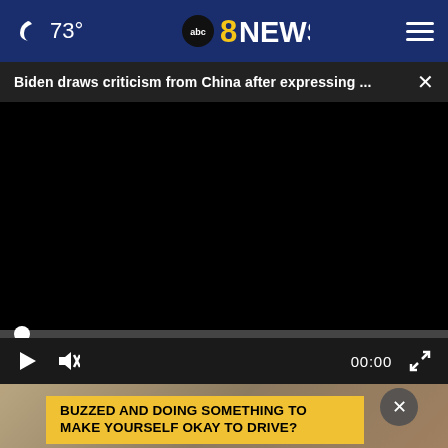🌙 73° | abc8NEWS | ≡
Biden draws criticism from China after expressing ... ×
[Figure (screenshot): Black video player area showing a paused video]
00:00
[Figure (screenshot): Bottom portion showing a person, close button circle with X, and yellow ad banner reading BUZZED AND DOING SOMETHING TO MAKE YOURSELF OKAY TO DRIVE?]
BUZZED AND DOING SOMETHING TO MAKE YOURSELF OKAY TO DRIVE?